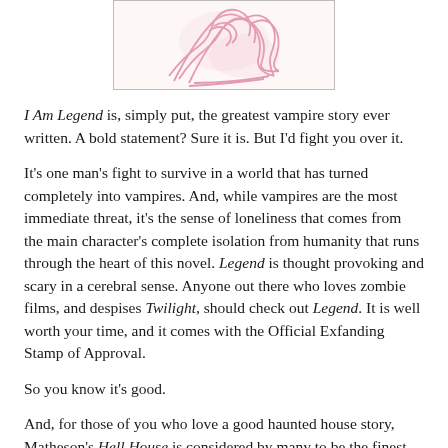[Figure (illustration): A pink/rose colored sketch or illustration, partially visible at the top of the page, showing abstract or figurative line art on a cream background, framed with a light border.]
I Am Legend is, simply put, the greatest vampire story ever written. A bold statement? Sure it is. But I'd fight you over it.
It's one man's fight to survive in a world that has turned completely into vampires. And, while vampires are the most immediate threat, it's the sense of loneliness that comes from the main character's complete isolation from humanity that runs through the heart of this novel. Legend is thought provoking and scary in a cerebral sense. Anyone out there who loves zombie films, and despises Twilight, should check out Legend. It is well worth your time, and it comes with the Official Exfanding Stamp of Approval.
So you know it's good.
And, for those of you who love a good haunted house story, Matheson's Hell House is considered by many to be the finest example of that particular sub-genre ever penned. It moves at an incredible pace, and it is just flat out creepy.